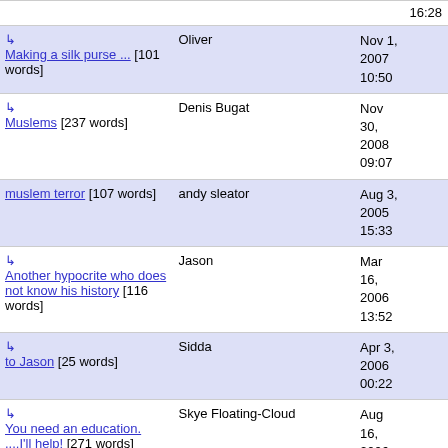| Title | Author | Date |
| --- | --- | --- |
| 16:28 |  |  |
| ↳ Making a silk purse ... [101 words] | Oliver | Nov 1, 2007 10:50 |
| ↳ Muslems [237 words] | Denis Bugat | Nov 30, 2008 09:07 |
| muslem terror [107 words] | andy sleator | Aug 3, 2005 15:33 |
| ↳ Another hypocrite who does not know his history [116 words] | Jason | Mar 16, 2006 13:52 |
| ↳ to Jason [25 words] | Sidda | Apr 3, 2006 00:22 |
| ↳ You need an education. ....I'll help! [271 words] | Skye Floating-Cloud | Aug 16, 2006 01:46 |
| ↳ not for nothing [38 words] | kc ritznore | Sep 18, 2006 |